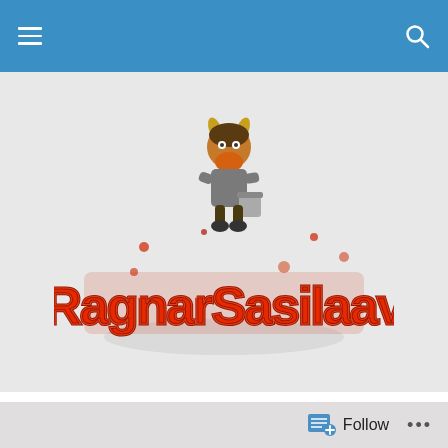Navigation bar with hamburger menu and search icon
[Figure (illustration): Ragnarok Festival logo: cartoon viking character holding a bucket above stylized red graffiti lettering 'RagnarSasilaav' on a light grey background]
TAGGED WITH GUS GUS
Iceland Airwaves 2015
And, the final announcement is out. Almost 230 bands will
Follow ...